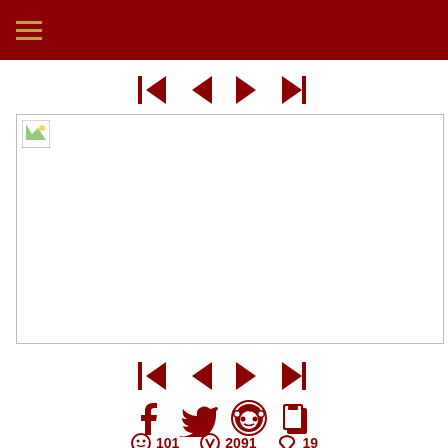[Figure (screenshot): Dark red navigation header bar with hamburger menu icon in gold/tan color]
[Figure (other): Navigation control icons: skip-back, previous, next, skip-forward in dark red]
[Figure (other): Broken image placeholder with small icon and horizontal line]
[Figure (other): Navigation control icons repeated: skip-back, previous, next, skip-forward in dark red]
[Figure (other): Social sharing icons: Facebook, Twitter, Reddit, Copy in dark red]
101  2091  19